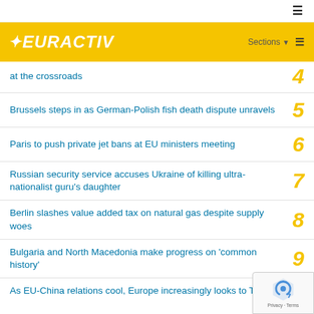EURACTIV — Sections menu
at the crossroads
Brussels steps in as German-Polish fish death dispute unravels
Paris to push private jet bans at EU ministers meeting
Russian security service accuses Ukraine of killing ultra-nationalist guru's daughter
Berlin slashes value added tax on natural gas despite supply woes
Bulgaria and North Macedonia make progress on 'common history'
As EU-China relations cool, Europe increasingly looks to Taiwan